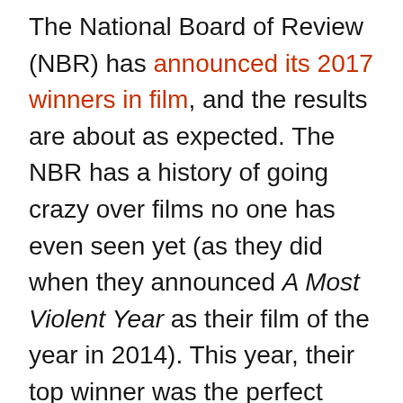The National Board of Review (NBR) has announced its 2017 winners in film, and the results are about as expected. The NBR has a history of going crazy over films no one has even seen yet (as they did when they announced A Most Violent Year as their film of the year in 2014). This year, their top winner was the perfect movie that arrived at the perfect time: Steven Spielberg's The Post walked away with the most awards, including Best Film, Best Actress (Meryl Streep) and Best Actor (Tom Hanks). The Post focuses on the role The Washington Post played in getting the Pentagon Papers published, even as they were being sued by the government. It's